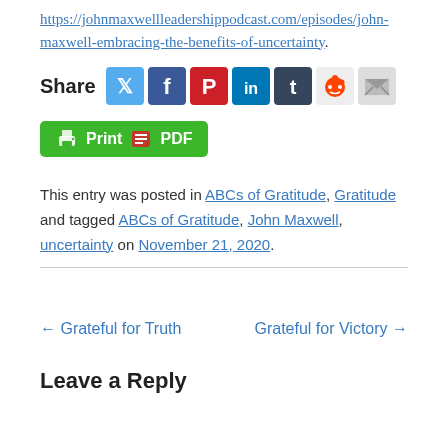https://johnmaxwellleadershippodcast.com/episodes/john-maxwell-embracing-the-benefits-of-uncertainty.
[Figure (infographic): Share bar with social media icons: Twitter, Facebook, Pinterest, LinkedIn, Tumblr, Reddit, Email]
[Figure (infographic): Green Print/PDF button with printer icon]
This entry was posted in ABCs of Gratitude, Gratitude and tagged ABCs of Gratitude, John Maxwell, uncertainty on November 21, 2020.
← Grateful for Truth
Grateful for Victory →
Leave a Reply